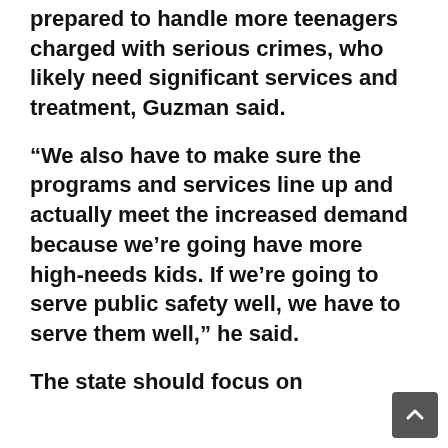prepared to handle more teenagers charged with serious crimes, who likely need significant services and treatment, Guzman said.
“We also have to make sure the programs and services line up and actually meet the increased demand because we’re going have more high-needs kids. If we’re going to serve public safety well, we have to serve them well,” he said.
The state should focus on